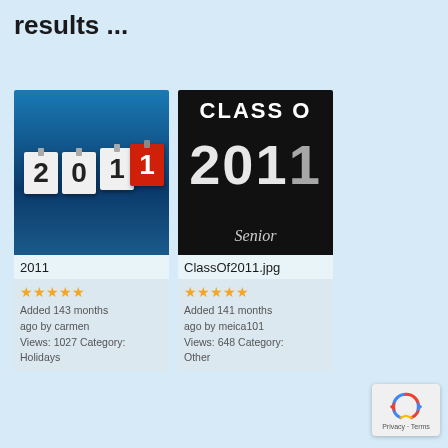results ...
[Figure (photo): Photo thumbnail of '2011' shown as calendar flip tiles on a blue gradient background. Tiles show digits 2, 0, 1, 1 with the last '1' on a red tile.]
2011
★★★★★
Added 143 months ago by carmen
Views: 1027 Category: Holidays
[Figure (photo): Photo thumbnail showing text 'CLASS OF 2011 Seniors' in bold white letters on a black background.]
ClassOf2011.jpg
★★★★★
Added 141 months ago by meica101
Views: 648 Category: Other